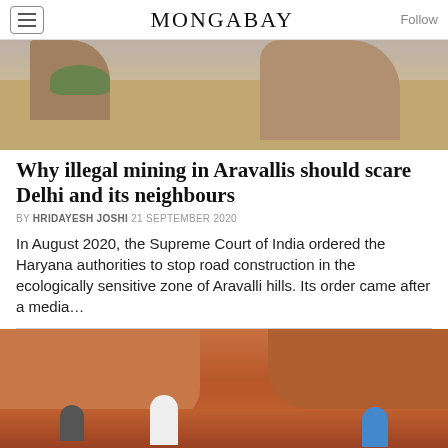MONGABAY
[Figure (photo): Landscape photo of Aravalli hills showing rocky terrain with sparse vegetation]
Why illegal mining in Aravallis should scare Delhi and its neighbours
BY HRIDAYESH JOSHI 21 SEPTEMBER 2020
In August 2020, the Supreme Court of India ordered the Haryana authorities to stop road construction in the ecologically sensitive zone of Aravalli hills. Its order came after a media...
[Figure (photo): Photo of workers mining in red rocky terrain of Aravallis]